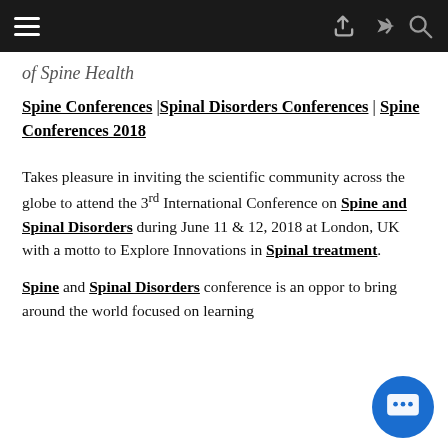of Spine Health
Spine Conferences | Spinal Disorders Conferences | Spine Conferences 2018
Takes pleasure in inviting the scientific community across the globe to attend the 3rd International Conference on Spine and Spinal Disorders during June 11 & 12, 2018 at London, UK with a motto to Explore Innovations in Spinal treatment.
Spine and Spinal Disorders conference is an opportunity to bring around the world focused on learning about Spine and Spinal Disorders.